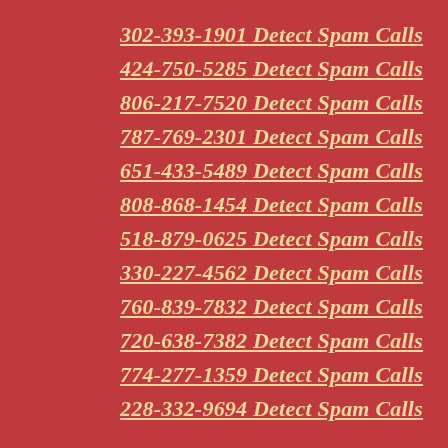302-393-1901 Detect Spam Calls
424-750-5285 Detect Spam Calls
806-217-7520 Detect Spam Calls
787-769-2301 Detect Spam Calls
651-433-5489 Detect Spam Calls
808-868-1454 Detect Spam Calls
518-879-0625 Detect Spam Calls
330-227-4562 Detect Spam Calls
760-839-7832 Detect Spam Calls
720-638-7382 Detect Spam Calls
774-277-1359 Detect Spam Calls
228-332-9694 Detect Spam Calls